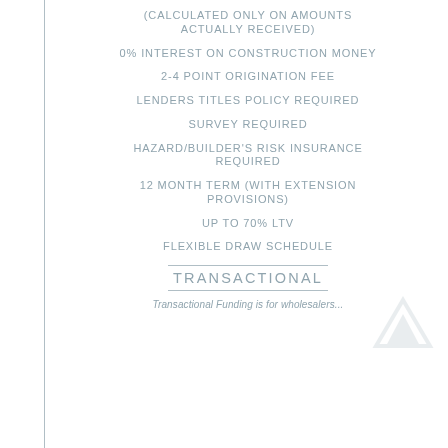(CALCULATED ONLY ON AMOUNTS ACTUALLY RECEIVED)
0% INTEREST ON CONSTRUCTION MONEY
2-4 POINT ORIGINATION FEE
LENDERS TITLES POLICY REQUIRED
SURVEY REQUIRED
HAZARD/BUILDER'S RISK INSURANCE REQUIRED
12 MONTH TERM (WITH EXTENSION PROVISIONS)
UP TO 70% LTV
FLEXIBLE DRAW SCHEDULE
TRANSACTIONAL
Transactional Funding is for wholesalers...